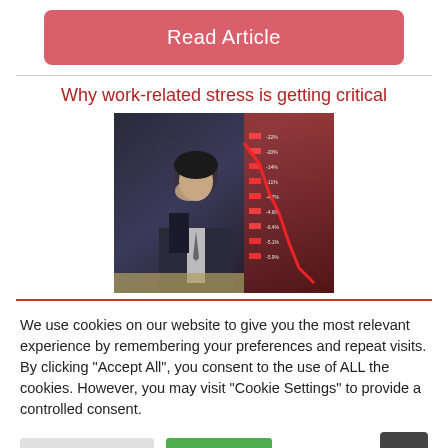[Figure (other): Red rounded rectangle button labeled 'Read Article']
Why work-related stress is getting critical
[Figure (photo): A stressed businessman in a suit with his head in his hands, overlaid with a red declining stock market chart with percentage figures]
We use cookies on our website to give you the most relevant experience by remembering your preferences and repeat visits. By clicking "Accept All", you consent to the use of ALL the cookies. However, you may visit "Cookie Settings" to provide a controlled consent.